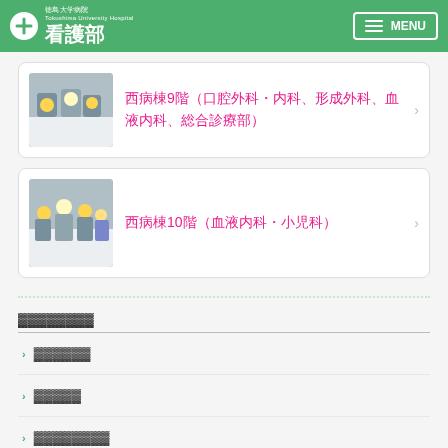徳島大学病院 看護部 MENU
西病棟9階（口腔外科・内科、形成外科、血液内科、総合診療部）
西病棟10階（血液内科・小児科）
▓▓▓▓▓▓▓▓
▓▓▓▓▓▓
▓▓▓▓▓
▓▓▓▓▓▓▓▓